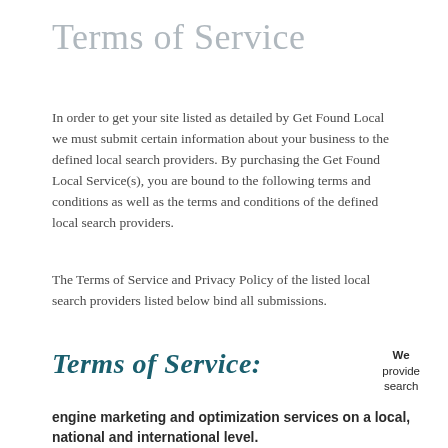Terms of Service
In order to get your site listed as detailed by Get Found Local we must submit certain information about your business to the defined local search providers. By purchasing the Get Found Local Service(s), you are bound to the following terms and conditions as well as the terms and conditions of the defined local search providers.
The Terms of Service and Privacy Policy of the listed local search providers listed below bind all submissions.
Terms of Service: We provide search engine marketing and optimization services on a local, national and international level.